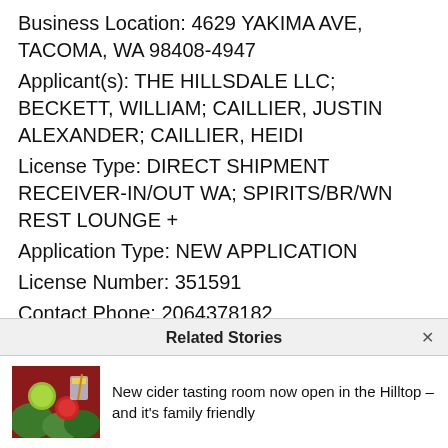Business Location: 4629 YAKIMA AVE, TACOMA, WA 98408-4947
Applicant(s): THE HILLSDALE LLC; BECKETT, WILLIAM; CAILLIER, JUSTIN ALEXANDER; CAILLIER, HEIDI
License Type: DIRECT SHIPMENT RECEIVER-IN/OUT WA; SPIRITS/BR/WN REST LOUNGE +
Application Type: NEW APPLICATION
License Number: 351591
Contact Phone: 2064378182
Notification Date: 10/10/2019
Related Stories
New cider tasting room now open in the Hilltop – and it's family friendly